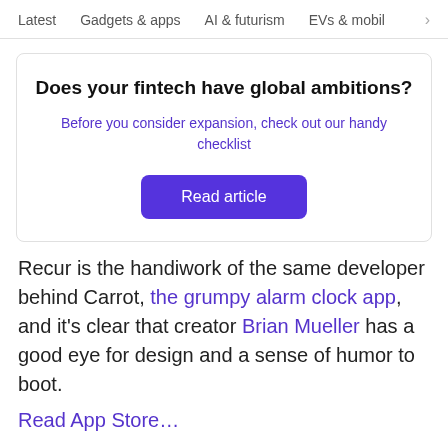Latest   Gadgets & apps   AI & futurism   EVs & mobi… >
[Figure (other): Promotional ad card with bold headline 'Does your fintech have global ambitions?', subtitle link 'Before you consider expansion, check out our handy checklist', and a purple 'Read article' button]
Recur is the handiwork of the same developer behind Carrot, the grumpy alarm clock app, and it's clear that creator Brian Mueller has a good eye for design and a sense of humor to boot.
Read App Store…